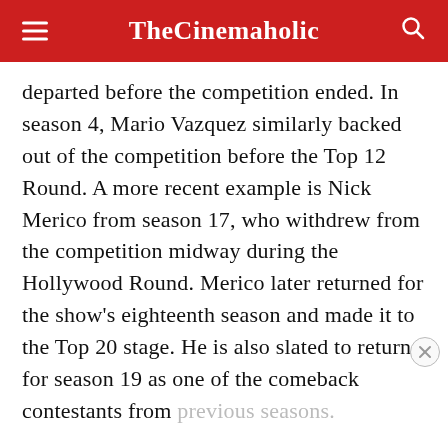TheCinemaholic
departed before the competition ended. In season 4, Mario Vazquez similarly backed out of the competition before the Top 12 Round. A more recent example is Nick Merico from season 17, who withdrew from the competition midway during the Hollywood Round. Merico later returned for the show's eighteenth season and made it to the Top 20 stage. He is also slated to return for season 19 as one of the comeback contestants from previous seasons.